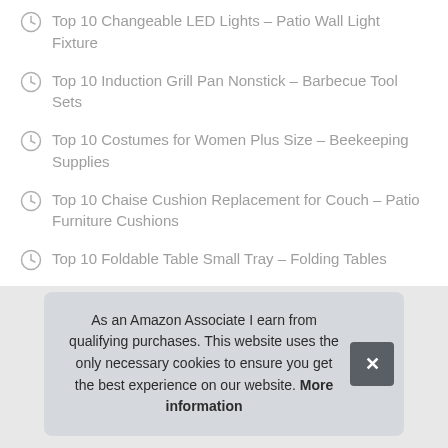Top 10 Changeable LED Lights – Patio Wall Light Fixture
Top 10 Induction Grill Pan Nonstick – Barbecue Tool Sets
Top 10 Costumes for Women Plus Size – Beekeeping Supplies
Top 10 Chaise Cushion Replacement for Couch – Patio Furniture Cushions
Top 10 Foldable Table Small Tray – Folding Tables
Top 10 7 Foot Patio Umbrella with Solar Lights – Patio Umbrellas
As an Amazon Associate I earn from qualifying purchases. This website uses the only necessary cookies to ensure you get the best experience on our website. More information